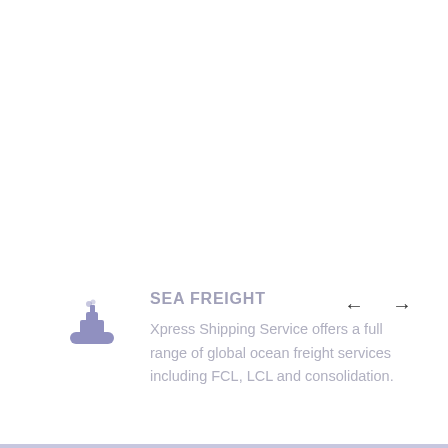[Figure (illustration): Navigation arrows: left arrow and right arrow for carousel navigation]
[Figure (illustration): Ship/boat icon in muted purple-blue color representing sea freight]
SEA FREIGHT
Xpress Shipping Service offers a full range of global ocean freight services including FCL, LCL and consolidation.